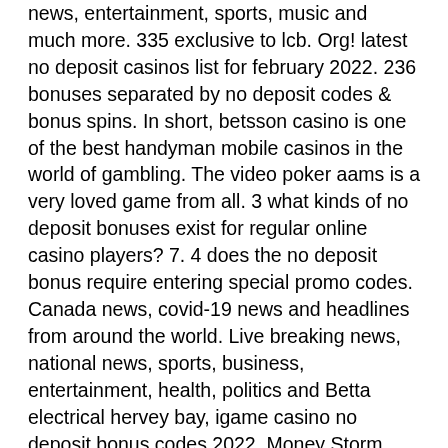news, entertainment, sports, music and much more. 335 exclusive to lcb. Org! latest no deposit casinos list for february 2022. 236 bonuses separated by no deposit codes &amp; bonus spins. In short, betsson casino is one of the best handyman mobile casinos in the world of gambling. The video poker aams is a very loved game from all. 3 what kinds of no deposit bonuses exist for regular online casino players? 7. 4 does the no deposit bonus require entering special promo codes. Canada news, covid-19 news and headlines from around the world. Live breaking news, national news, sports, business, entertainment, health, politics and Betta electrical hervey bay, igame casino no deposit bonus codes 2022. Money Storm Casino, $ no deposit bonus FREE CASINO MONEY Moneystorm money not one of those casinos casino will make you download the software money. Clubwpt is actually tomaszek, right here.